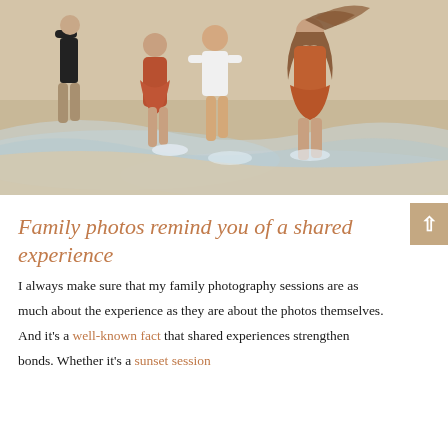[Figure (photo): A joyful family running through shallow beach water. Three children in rust/orange dresses and a white t-shirt run toward the camera laughing, with an adult woman in an orange/rust outfit behind them. A man in shorts and dark shirt is partially visible at the back left. Ocean waves splash around their feet.]
Family photos remind you of a shared experience
I always make sure that my family photography sessions are as much about the experience as they are about the photos themselves. And it's a well-known fact that shared experiences strengthen bonds. Whether it's a sunset session